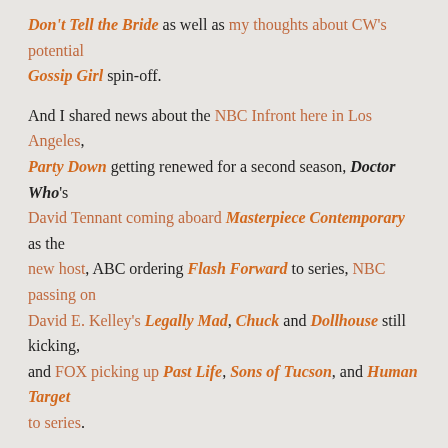Don't Tell the Bride as well as my thoughts about CW's potential Gossip Girl spin-off.
And I shared news about the NBC Infront here in Los Angeles, Party Down getting renewed for a second season, Doctor Who's David Tennant coming aboard Masterpiece Contemporary as the new host, ABC ordering Flash Forward to series, NBC passing on David E. Kelley's Legally Mad, Chuck and Dollhouse still kicking, and FOX picking up Past Life, Sons of Tucson, and Human Target to series.
Elsewhere in the sophisticated TV-obsessed section of the blogosphere, members of the TV Blog Coalition were discussing the following items...
Buzz got pumped about the upcoming sneak peek of Glee and shared some tidbits she learned from the cast.